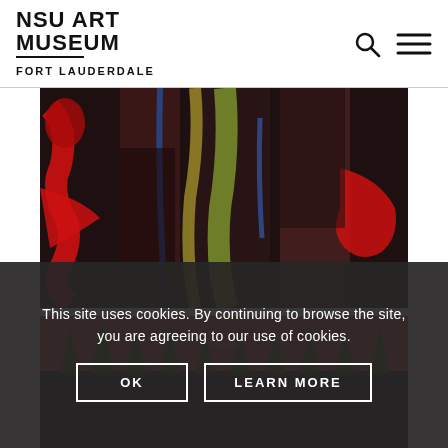NSU ART MUSEUM FORT LAUDERDALE
[Figure (photo): Abstract expressionist painting with bold red, yellow, green and dark forms on a dark background]
[Figure (photo): Abstract painting with red/coral background, green spiky forms and dark swirling shapes, partially visible]
This site uses cookies. By continuing to browse the site, you are agreeing to our use of cookies.
OK   LEARN MORE